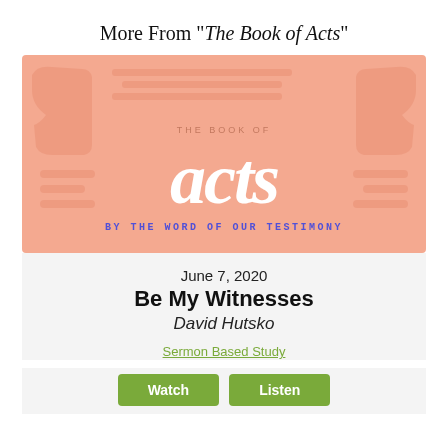More From "The Book of Acts"
[Figure (illustration): Book of Acts sermon series graphic with salmon/peach background, stylized cursive 'acts' text in white, 'THE BOOK OF' in small caps above, and 'BY THE WORD OF OUR TESTIMONY' in blue monospace letters below, with decorative quote-mark shapes on sides]
June 7, 2020
Be My Witnesses
David Hutsko
Sermon Based Study
Watch
Listen